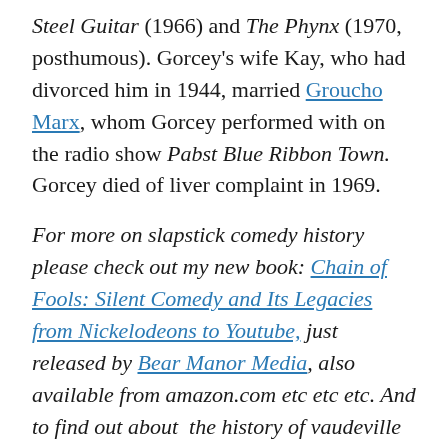the [cut off] Steel Guitar (1966) and The Phynx (1970, posthumous). Gorcey's wife Kay, who had divorced him in 1944, married Groucho Marx, whom Gorcey performed with on the radio show Pabst Blue Ribbon Town. Gorcey died of liver complaint in 1969.
For more on slapstick comedy history please check out my new book: Chain of Fools: Silent Comedy and Its Legacies from Nickelodeons to Youtube, just released by Bear Manor Media, also available from amazon.com etc etc etc. And to find out about the history of vaudeville [continues below]